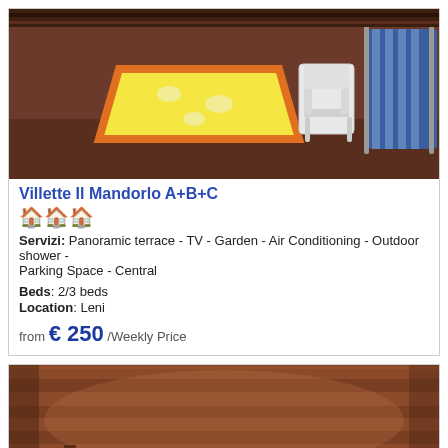[Figure (photo): Outdoor terrace photo showing a table with a yellow/white checkered tablecloth, a white plastic chair, and a blue striped lounger, with dark wooden walls/ceiling in the background.]
Villette Il Mandorlo A+B+C
🏠🏠🏠 (3 house icons rating)
Servizi: Panoramic terrace - TV - Garden - Air Conditioning - Outdoor shower - Parking Space - Central
Beds: 2/3 beds
Location: Leni
from € 250 /Weekly Price
[Figure (photo): Photo showing an outdoor wooden pergola/roof structure made of horizontal wooden planks, with a view of mountains and sky in the background.]